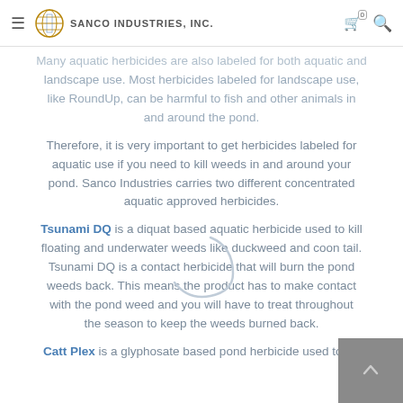SANCO INDUSTRIES, INC.
Many aquatic herbicides are also labeled for both aquatic and landscape use. Most herbicides labeled for landscape use, like RoundUp, can be harmful to fish and other animals in and around the pond.
Therefore, it is very important to get herbicides labeled for aquatic use if you need to kill weeds in and around your pond. Sanco Industries carries two different concentrated aquatic approved herbicides.
Tsunami DQ is a diquat based aquatic herbicide used to kill floating and underwater weeds like duckweed and coon tail. Tsunami DQ is a contact herbicide that will burn the pond weeds back. This means the product has to make contact with the pond weed and you will have to treat throughout the season to keep the weeds burned back.
Catt Plex is a glyphosate based pond herbicide used to kill